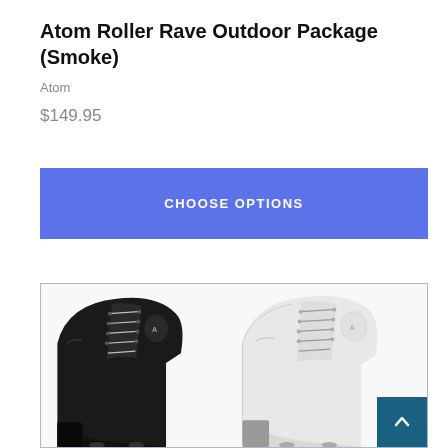Atom Roller Rave Outdoor Package (Smoke)
Atom
$149.95
CHOOSE OPTIONS
[Figure (photo): Two roller skate boots side by side — a black boot on the left and a white boot on the right, both high-top lace-up style with Atom branding visible on the side.]